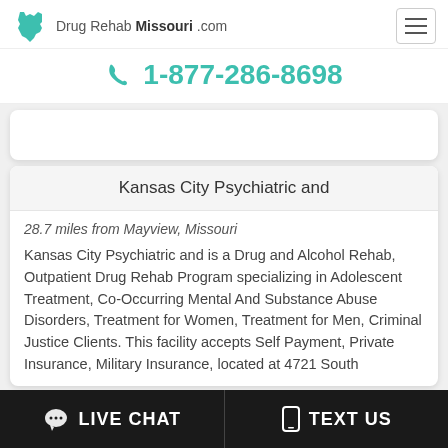Drug Rehab Missouri .com
1-877-286-8698
Kansas City Psychiatric and
28.7 miles from Mayview, Missouri
Kansas City Psychiatric and is a Drug and Alcohol Rehab, Outpatient Drug Rehab Program specializing in Adolescent Treatment, Co-Occurring Mental And Substance Abuse Disorders, Treatment for Women, Treatment for Men, Criminal Justice Clients. This facility accepts Self Payment, Private Insurance, Military Insurance, located at 4731 South
LIVE CHAT   TEXT US